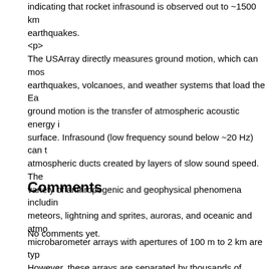indicating that rocket infrasound is observed out to ~1500 km earthquakes.
<p>
The USArray directly measures ground motion, which can most earthquakes, volcanoes, and weather systems that load the Ea ground motion is the transfer of atmospheric acoustic energy i surface. Infrasound (low frequency sound below ~20 Hz) can t atmospheric ducts created by layers of slow sound speed. The variety of anthropogenic and geophysical phenomena includin meteors, lightning and sprites, auroras, and oceanic and atmo microbarometer arrays with apertures of 100 m to 2 km are typ However, these arrays are separated by thousands of kilome on what they can teach us about infrasound source physics. T infrasound sources in unprecedented detail. Array processing migration (RTM), may work well in automated detection and lo registered by the USArray (see also Hedlin et al. contribution). detected thus far using this technique. For example, below is a Vandenberg Air Force Base rocket launch.</p>
Comments
No comments yet.